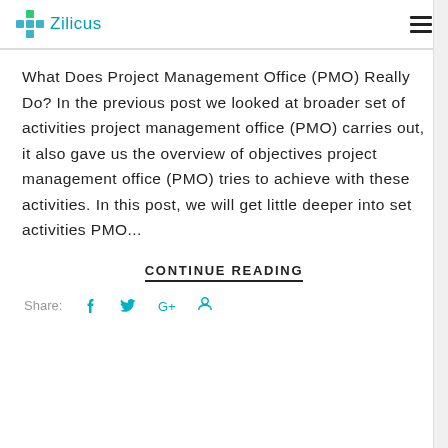Zilicus
What Does Project Management Office (PMO) Really Do? In the previous post we looked at broader set of activities project management office (PMO) carries out, it also gave us the overview of objectives project management office (PMO) tries to achieve with these activities. In this post, we will get little deeper into set activities PMO...
CONTINUE READING
Share: